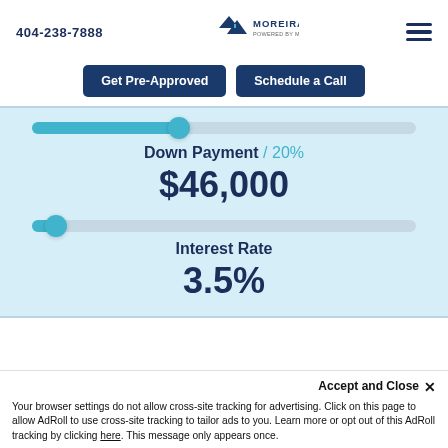404-238-7888
[Figure (logo): Moreira Team powered by MortgageRight logo with mountain/house icon]
Get Pre-Approved | Schedule a Call
Down Payment / 20%
$46,000
Interest Rate
3.5%
Accept and Close ×
Your browser settings do not allow cross-site tracking for advertising. Click on this page to allow AdRoll to use cross-site tracking to tailor ads to you. Learn more or opt out of this AdRoll tracking by clicking here. This message only appears once.